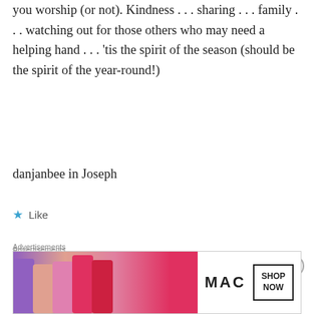you worship (or not). Kindness . . . sharing . . . family . . . watching out for those others who may need a helping hand . . . 'tis the spirit of the season (should be the spirit of the year-round!)
danjanbee in Joseph
★ Like
Advertisements
[Figure (screenshot): Sensei plugin advertisement with dark navy background showing sensei logo and text 'Launch your online course with WordPress']
Advertisements
[Figure (screenshot): MAC cosmetics advertisement showing lipsticks with SHOP NOW button]